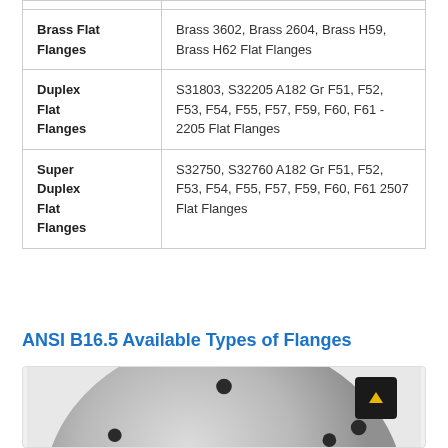| Type | Description |
| --- | --- |
| Brass Flat Flanges | Brass 3602, Brass 2604, Brass H59, Brass H62 Flat Flanges |
| Duplex Flat Flanges | S31803, S32205 A182 Gr F51, F52, F53, F54, F55, F57, F59, F60, F61 - 2205 Flat Flanges |
| Super Duplex Flat Flanges | S32750, S32760 A182 Gr F51, F52, F53, F54, F55, F57, F59, F60, F61 2507 Flat Flanges |
ANSI B16.5 Available Types of Flanges
[Figure (photo): Photograph of a flat flange (circular metal disc with bolt holes visible), gray metallic surface, viewed from front angle]